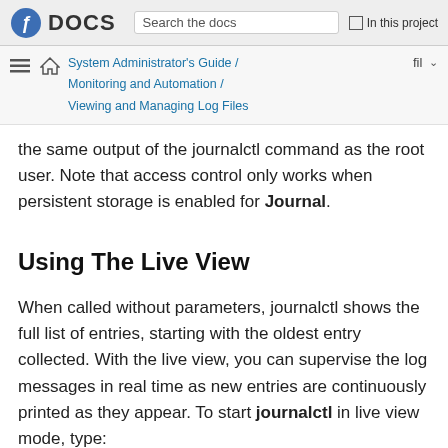Fedora DOCS | Search the docs | In this project
System Administrator's Guide / Monitoring and Automation / Viewing and Managing Log Files  fil
the same output of the journalctl command as the root user. Note that access control only works when persistent storage is enabled for Journal.
Using The Live View
When called without parameters, journalctl shows the full list of entries, starting with the oldest entry collected. With the live view, you can supervise the log messages in real time as new entries are continuously printed as they appear. To start journalctl in live view mode, type: